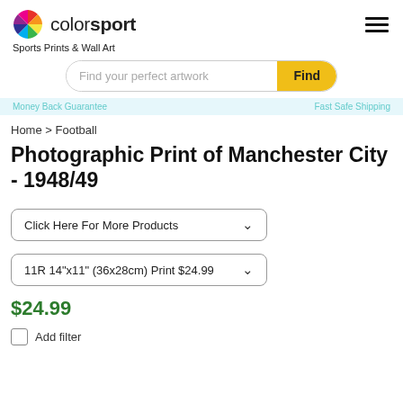colorsport — Sports Prints & Wall Art
[Figure (logo): Colorsport logo with multicolored pinwheel icon and 'colorsport' wordmark]
Sports Prints & Wall Art
Find your perfect artwork — Find button
Money Back Guarantee | Fast Safe Shipping
Home > Football
Photographic Print of Manchester City - 1948/49
Click Here For More Products
11R 14"x11" (36x28cm) Print $24.99
$24.99
Add filter